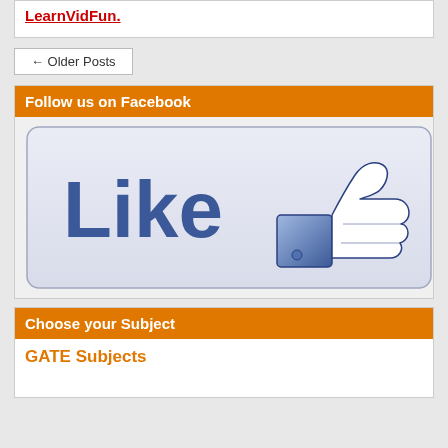LearnVidFun.
← Older Posts
Follow us on Facebook
[Figure (illustration): Facebook Like button with thumbs up icon, blue gradient background with rounded rectangle border]
Choose your Subject
GATE Subjects